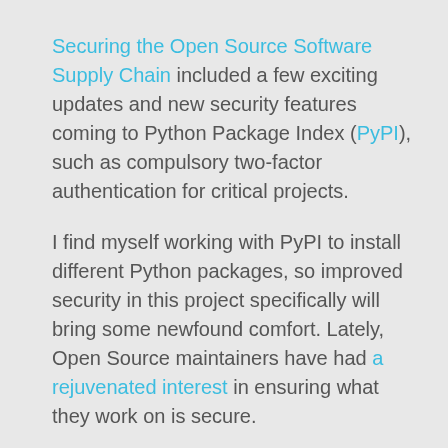Securing the Open Source Software Supply Chain included a few exciting updates and new security features coming to Python Package Index (PyPI), such as compulsory two-factor authentication for critical projects.
I find myself working with PyPI to install different Python packages, so improved security in this project specifically will bring some newfound comfort. Lately, Open Source maintainers have had a rejuvenated interest in ensuring what they work on is secure.